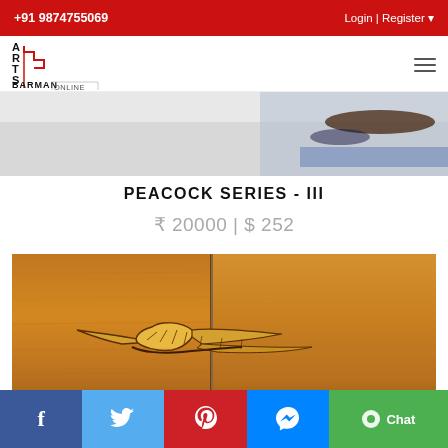+91 9874755069 | Login | Register
[Figure (logo): Arts Barman Online logo with staircase design in red and black]
[Figure (photo): Partial view of artwork - top strip showing abstract painting with blue and brown brushstrokes on gray/white background]
PEACOCK SERIES - III
₹ 20000 | $ 252
[Figure (photo): Main artwork photo showing peacock feather relief sculpture on golden-brown wooden panels divided into sections. The feather appears carved or textured in gold relief against warm amber-brown background. Two panel sections visible with horizontal lower panel.]
f | Twitter | Pinterest | Messenger | Chat